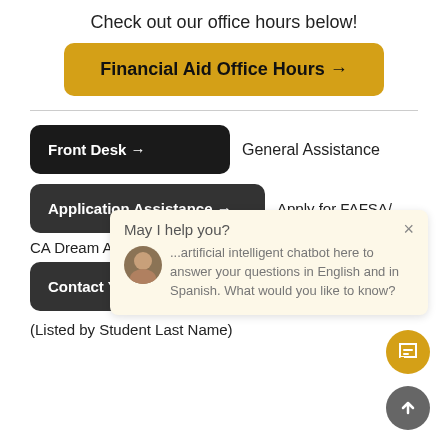Check out our office hours below!
[Figure (screenshot): Gold button labeled 'Financial Aid Office Hours →']
[Figure (screenshot): Black button 'Front Desk →' with label 'General Assistance']
[Figure (screenshot): Dark button 'Application Assistance →' with label 'Apply for FAFSA/ CA Dream Act Now!']
[Figure (screenshot): Dark button 'Contact Your Advisor →' with label 'Specific Questi...' and chatbot popup overlay reading 'May I help you? × ...intelligent chatbot here to answer your questions in English and in Spanish. What would you like to know?']
(Listed by Student Last Name)